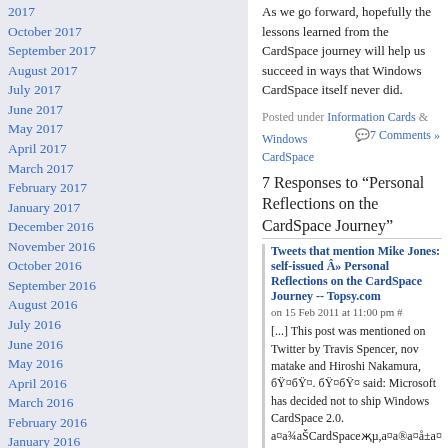2017
October 2017
September 2017
August 2017
July 2017
June 2017
May 2017
April 2017
March 2017
February 2017
January 2017
December 2016
November 2016
October 2016
September 2016
August 2016
July 2016
June 2016
May 2016
April 2016
March 2016
February 2016
January 2016
December 2015
November 2015
October 2015
As we go forward, hopefully the lessons learned from the CardSpace journey will help us succeed in ways that Windows CardSpace itself never did.
Posted under Information Cards & Windows CardSpace
7 Comments »
7 Responses to “Personal Reflections on the CardSpace Journey”
Tweets that mention Mike Jones: self-issued Â» Personal Reflections on the CardSpace Journey -- Topsy.com on 15 Feb 2011 at 11:00 pm #
[…] This post was mentioned on Twitter by Travis Spencer, nov matake and Hiroshi Nakamura, ãŸ¤ãŸ¤. ãŸ¤ãŸ¤ said: Microsoft has decided not to ship Windows CardSpace 2.0. ã¤ã¾ãŠCardSpaceçµã¤ã®ã¤å±ã¤€, @ http://bit.ly/exKGI8 http://bit.ly/eGcPaO […]